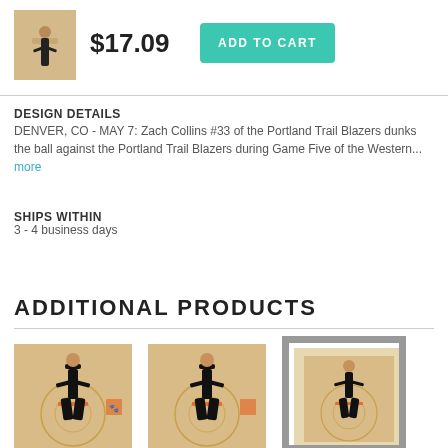[Figure (photo): Small thumbnail of basketball player dunking]
$17.09
ADD TO CART
DESIGN DETAILS
DENVER, CO - MAY 7: Zach Collins #33 of the Portland Trail Blazers dunks the ball against the Portland Trail Blazers during Game Five of the Western... more
SHIPS WITHIN
3 - 4 business days
ADDITIONAL PRODUCTS
[Figure (photo): Print of basketball player dunking - canvas style]
[Figure (photo): Print of basketball player dunking - canvas style 2]
[Figure (photo): Framed print of basketball player dunking]